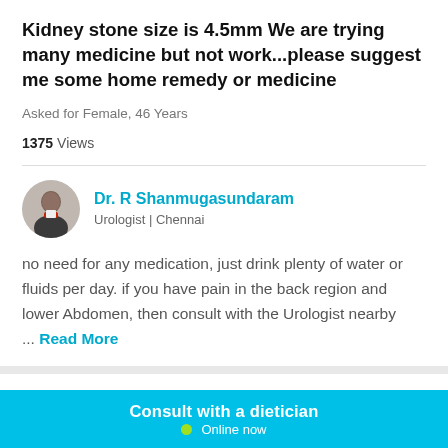Kidney stone size is 4.5mm We are trying many medicine but not work...please suggest me some home remedy or medicine
Asked for Female, 46 Years
1375 Views
Dr. R Shanmugasundaram
Urologist | Chennai
no need for any medication, just drink plenty of water or fluids per day. if you have pain in the back region and lower Abdomen, then consult with the Urologist nearby ... Read More
Hi doctor, Hope you are doing good. Actually my brother who is aged 19 yrs has kidney stone which we came to know just
Consult with a dietician
Online now